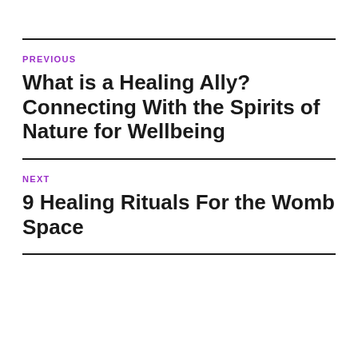PREVIOUS
What is a Healing Ally? Connecting With the Spirits of Nature for Wellbeing
NEXT
9 Healing Rituals For the Womb Space